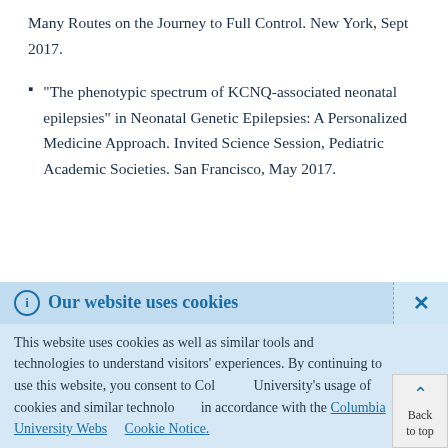Many Routes on the Journey to Full Control. New York, Sept 2017.
"The phenotypic spectrum of KCNQ-associated neonatal epilepsies" in Neonatal Genetic Epilepsies: A Personalized Medicine Approach. Invited Science Session, Pediatric Academic Societies. San Francisco, May 2017.
Our website uses cookies
This website uses cookies as well as similar tools and technologies to understand visitors' experiences. By continuing to use this website, you consent to Columbia University's usage of cookies and similar technologies in accordance with the Columbia University Website Cookie Notice.